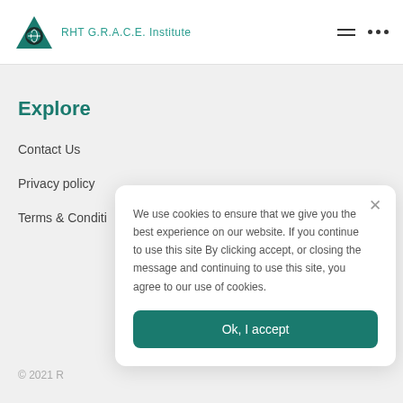RHT G.R.A.C.E. Institute
Explore
Contact Us
Privacy policy
Terms & Conditi
We use cookies to ensure that we give you the best experience on our website. If you continue to use this site By clicking accept, or closing the message and continuing to use this site, you agree to our use of cookies.
Ok, I accept
© 2021 R